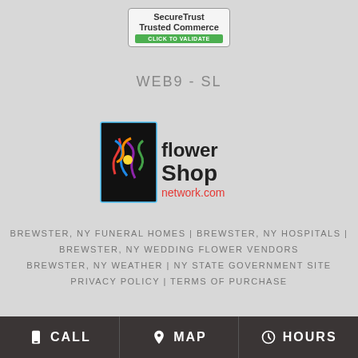[Figure (logo): SecureTrust Trusted Commerce badge with green 'Click to Validate' button]
WEB9-SL
[Figure (logo): Flower Shop Network .com logo with colorful flower graphic]
BREWSTER, NY FUNERAL HOMES | BREWSTER, NY HOSPITALS |
BREWSTER, NY WEDDING FLOWER VENDORS
BREWSTER, NY WEATHER | NY STATE GOVERNMENT SITE
PRIVACY POLICY | TERMS OF PURCHASE
CALL  MAP  HOURS